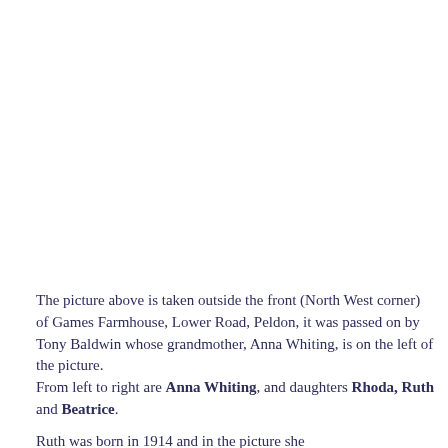The picture above is taken outside the front (North West corner) of Games Farmhouse, Lower Road, Peldon, it was passed on by Tony Baldwin whose grandmother, Anna Whiting, is on the left of the picture.
From left to right are Anna Whiting, and daughters Rhoda, Ruth and Beatrice.
Ruth was born in 1914 and in the picture she